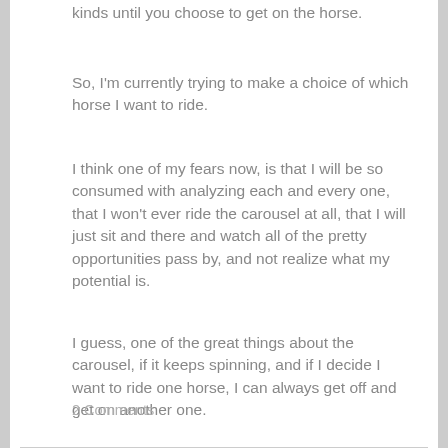kinds until you choose to get on the horse.
So, I'm currently trying to make a choice of which horse I want to ride.
I think one of my fears now, is that I will be so consumed with analyzing each and every one, that I won't ever ride the carousel at all, that I will just sit and there and watch all of the pretty opportunities pass by, and not realize what my potential is.
I guess, one of the great things about the carousel, if it keeps spinning, and if I decide I want to ride one horse, I can always get off and get on another one.
2 Comments